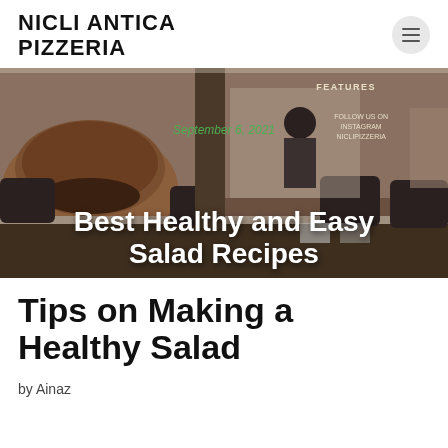NICLI ANTICA PIZZERIA
[Figure (photo): Interior of Nicli Antica Pizzeria showing pizza oven, dining chairs, and counter area. Overlay text shows date 'September 6, 2021' and title 'Best Healthy and Easy Salad Recipes'. Sign in background reads 'FEATURES' and 'FOLLOW US ON INSTAGRAM NICLIPIZZERIA'.]
Tips on Making a Healthy Salad
by Ainaz